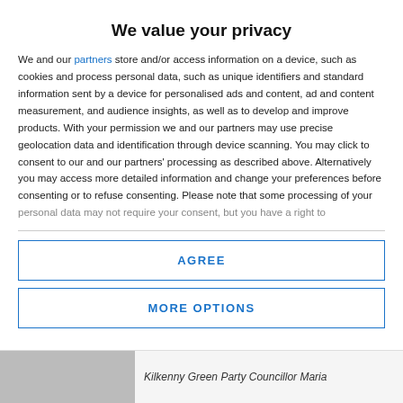We value your privacy
We and our partners store and/or access information on a device, such as cookies and process personal data, such as unique identifiers and standard information sent by a device for personalised ads and content, ad and content measurement, and audience insights, as well as to develop and improve products. With your permission we and our partners may use precise geolocation data and identification through device scanning. You may click to consent to our and our partners' processing as described above. Alternatively you may access more detailed information and change your preferences before consenting or to refuse consenting. Please note that some processing of your personal data may not require your consent, but you have a right to
AGREE
MORE OPTIONS
Kilkenny Green Party Councillor Maria